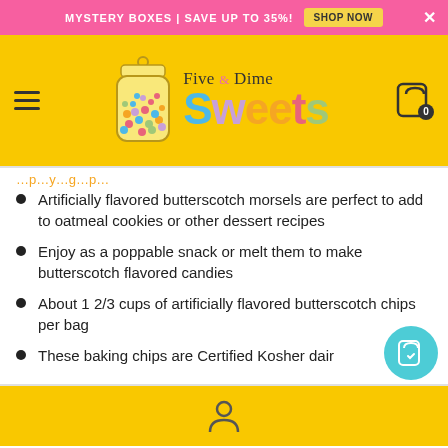MYSTERY BOXES | SAVE UP TO 35%! SHOP NOW
[Figure (logo): Five & Dime Sweets logo with candy jar illustration and colorful text]
(partial text, partially visible)
Artificially flavored butterscotch morsels are perfect to add to oatmeal cookies or other dessert recipes
Enjoy as a poppable snack or melt them to make butterscotch flavored candies
About 1 2/3 cups of artificially flavored butterscotch chips per bag
These baking chips are Certified Kosher dair